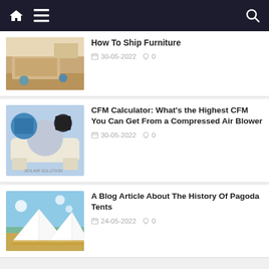Navigation bar with home, menu, and search icons
[Figure (photo): People moving furniture out of a home]
How To Ship Furniture
30-05-2022  0
[Figure (photo): Industrial air compressor machine on white tank]
CFM Calculator: What's the Highest CFM You Can Get From a Compressed Air Blower
30-05-2022  0
[Figure (photo): White pagoda tent structure set up outdoors on grass under blue sky]
A Blog Article About The History Of Pagoda Tents
24-05-2022  0
Search